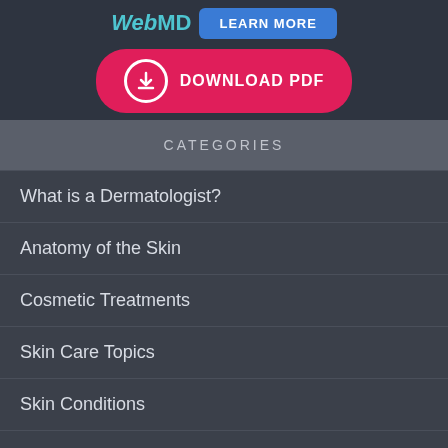[Figure (logo): WebMD logo with LEARN MORE blue button]
[Figure (other): DOWNLOAD PDF button with download icon]
CATEGORIES
What is a Dermatologist?
Anatomy of the Skin
Cosmetic Treatments
Skin Care Topics
Skin Conditions
Skin Growths